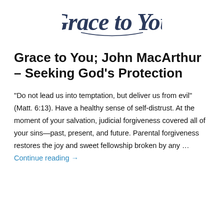[Figure (logo): Grace to You cursive script logo in dark navy blue]
Grace to You; John MacArthur – Seeking God's Protection
"Do not lead us into temptation, but deliver us from evil" (Matt. 6:13). Have a healthy sense of self-distrust. At the moment of your salvation, judicial forgiveness covered all of your sins—past, present, and future. Parental forgiveness restores the joy and sweet fellowship broken by any … Continue reading →